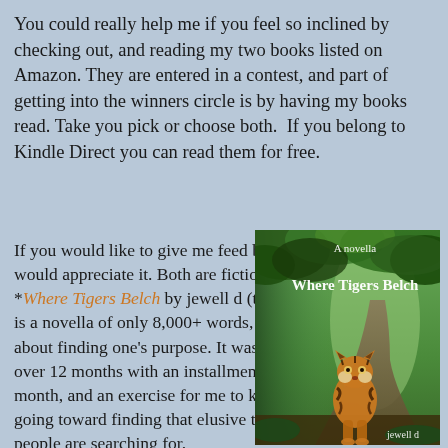You could really help me if you feel so inclined by checking out, and reading my two books listed on Amazon. They are entered in a contest, and part of getting into the winners circle is by having my books read. Take you pick or choose both.  If you belong to Kindle Direct you can read them for free.
If you would like to give me feed back I would appreciate it. Both are fiction. *Where Tigers Belch by jewell d (that's me) is a novella of only 8,000+ words, and is about finding one's purpose. It was written over 12 months with an installment each month, and an exercise for me to keep going toward finding that elusive thing people are searching for.
[Figure (illustration): Book cover for 'Where Tigers Belch' - A novella by jewell d. Shows a tiger walking on a forest path with green foliage in the background. Text 'A novella' at top, 'Where Tigers Belch' in the middle in white, and 'jewell d' at the bottom right.]